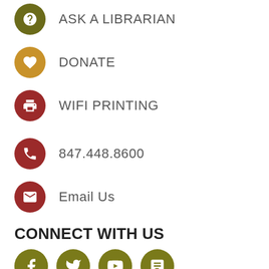ASK A LIBRARIAN
DONATE
WIFI PRINTING
847.448.8600
Email Us
CONNECT WITH US
[Figure (infographic): Four social media icon circles (Facebook, Twitter, YouTube, Goodreads) in olive/dark yellow color]
Evanston Public Library aims to be the heart of our diverse community by promoting the development of independent, self-confident, and literate citizens, and providing equitable access to cultural, technological, and information resources.
Translate »